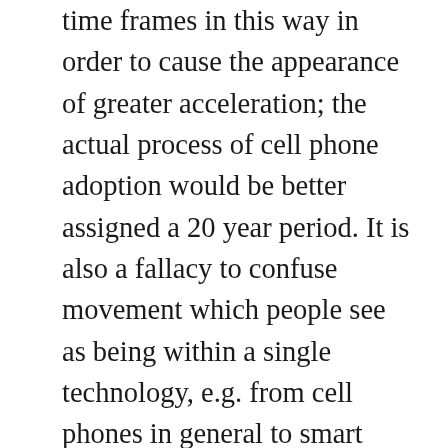time frames in this way in order to cause the appearance of greater acceleration; the actual process of cell phone adoption would be better assigned a 20 year period. It is also a fallacy to confuse movement which people see as being within a single technology, e.g. from cell phones in general to smart phones, with the adoption of a new technology. And it doesn't matter here whether or not there is really a new technology or not; what matters is whether people see it as adopting something new, because people are much more unwilling to adopt a new technology than to upgrade a presently used one. As one example, Ray was right to predict the coming of virtual reality technologies, even though his time frame was